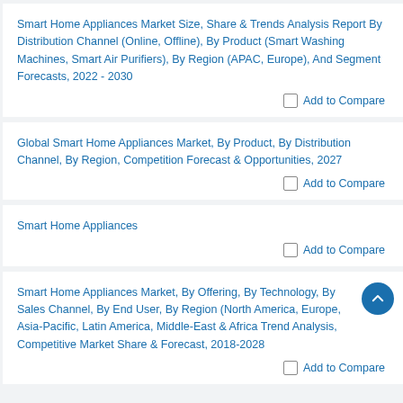Smart Home Appliances Market Size, Share & Trends Analysis Report By Distribution Channel (Online, Offline), By Product (Smart Washing Machines, Smart Air Purifiers), By Region (APAC, Europe), And Segment Forecasts, 2022 - 2030
Add to Compare
Global Smart Home Appliances Market, By Product, By Distribution Channel, By Region, Competition Forecast & Opportunities, 2027
Add to Compare
Smart Home Appliances
Add to Compare
Smart Home Appliances Market, By Offering, By Technology, By Sales Channel, By End User, By Region (North America, Europe, Asia-Pacific, Latin America, Middle-East & Africa Trend Analysis, Competitive Market Share & Forecast, 2018-2028
Add to Compare